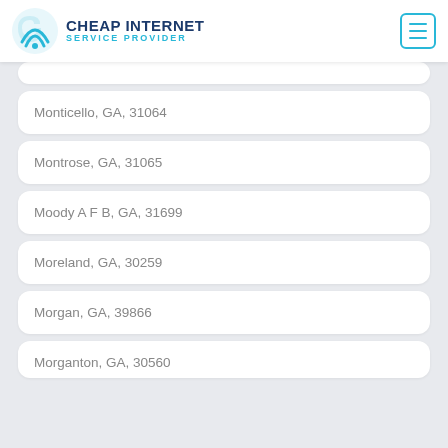CHEAP INTERNET SERVICE PROVIDER
Monticello, GA, 31064
Montrose, GA, 31065
Moody A F B, GA, 31699
Moreland, GA, 30259
Morgan, GA, 39866
Morganton, GA, 30560